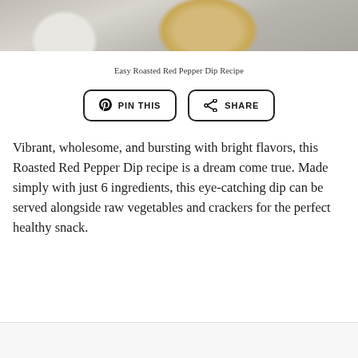[Figure (photo): Photo of roasted red pepper dip in a white bowl with black peppercorns in a small bowl and a striped cloth, knife visible on right side]
Easy Roasted Red Pepper Dip Recipe
[Figure (infographic): Two buttons: PIN THIS (with Pinterest icon) and SHARE (with share icon)]
Vibrant, wholesome, and bursting with bright flavors, this Roasted Red Pepper Dip recipe is a dream come true. Made simply with just 6 ingredients, this eye-catching dip can be served alongside raw vegetables and crackers for the perfect healthy snack.